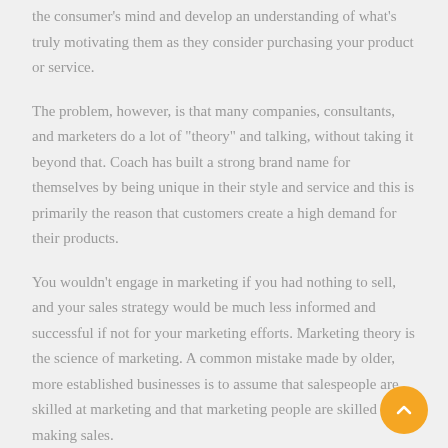the consumer's mind and develop an understanding of what's truly motivating them as they consider purchasing your product or service.
The problem, however, is that many companies, consultants, and marketers do a lot of "theory" and talking, without taking it beyond that. Coach has built a strong brand name for themselves by being unique in their style and service and this is primarily the reason that customers create a high demand for their products.
You wouldn't engage in marketing if you had nothing to sell, and your sales strategy would be much less informed and successful if not for your marketing efforts. Marketing theory is the science of marketing. A common mistake made by older, more established businesses is to assume that salespeople are skilled at marketing and that marketing people are skilled at making sales.